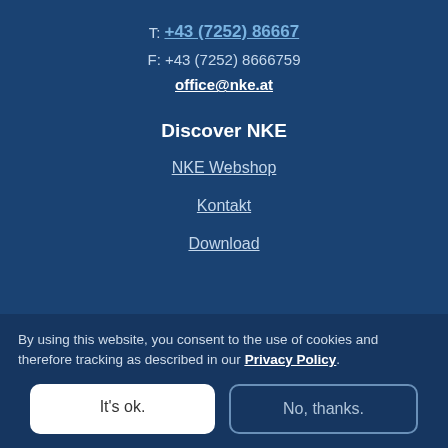T: +43 (7252) 86667
F: +43 (7252) 8666759
office@nke.at
Discover NKE
NKE Webshop
Kontakt
Download
By using this website, you consent to the use of cookies and therefore tracking as described in our Privacy Policy.
It's ok.
No, thanks.